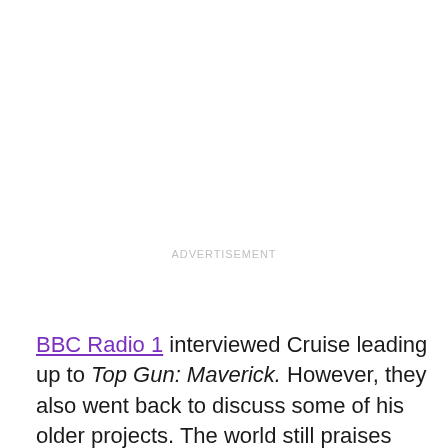ADVERTISEMENT
BBC Radio 1 interviewed Cruise leading up to Top Gun: Maverick. However, they also went back to discuss some of his older projects. The world still praises Cruise for Mission: Impossible – Fallout alongside Cavill. The interviewer brought up the bathroom fight